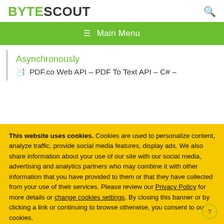BYTESCOUT
≡ Main Menu
Asynchronously
PDF.co Web API – PDF To Text API – C# –
This website uses cookies. Cookies are used to personalize content, analyze traffic, provide social media features, display ads. We also share information about your use of our site with our social media, advertising and analytics partners who may combine it with other information that you have provided to them or that they have collected from your use of their services. Please review our Privacy Policy for more details or change cookies settings. By closing this banner or by clicking a link or continuing to browse otherwise, you consent to our cookies.
OK